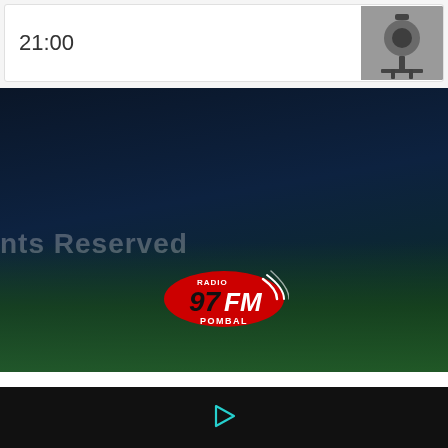21:00
[Figure (photo): Black and white photo of a camera or tripod on the right side of the card]
[Figure (logo): Radio 97 FM Pombal logo — red oval with 97FM text and signal arcs]
nts Reserved
ARQUIVO DE NOTÍCIAS
Seleccionar mês
[Figure (other): Play button triangle icon in teal/cyan color on black background]